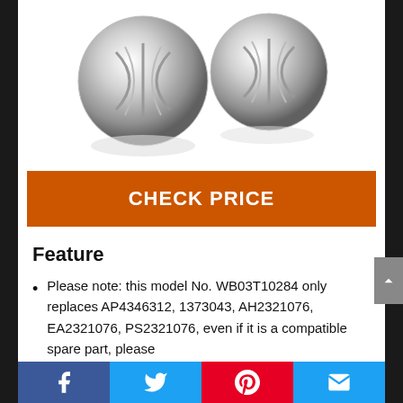[Figure (photo): Four silver/chrome appliance knobs arranged in a 2x2 grid on white background]
CHECK PRICE
Feature
Please note: this model No. WB03T10284 only replaces AP4346312, 1373043, AH2321076, EA2321076, PS2321076, even if it is a compatible spare part, please